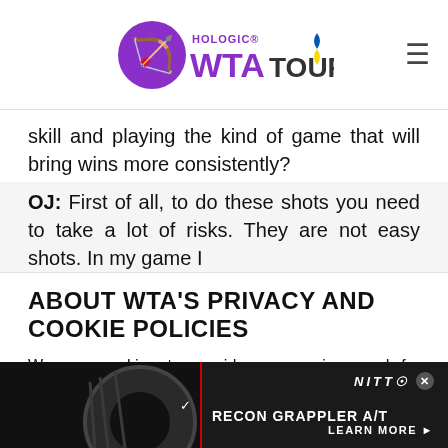Hologic WTA Tour
skill and playing the kind of game that will bring wins more consistently?
OJ: First of all, to do these shots you need to take a lot of risks. They are not easy shots. In my game I
ABOUT WTA'S PRIVACY AND COOKIE POLICIES
We use cookies to provide our services and for analytics and marketing. To find out more about our use of cookies and how you can disable them, please see our Privacy Policy. By continuing to browse our website, you agree to our use of cookies. Click here to find out more info.
[Figure (photo): Advertisement banner for Nitto Recon Grappler A/T tire with dark background showing tire image and 'LEARN MORE' call to action]